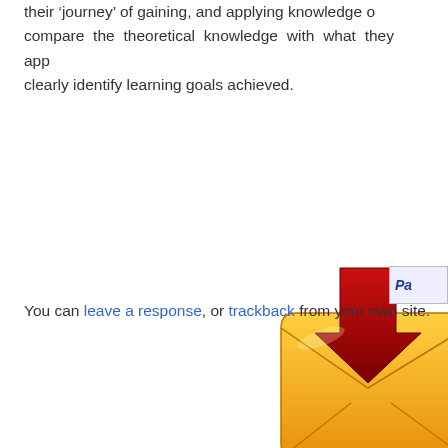their 'journey' of gaining, and applying knowledge of compare the theoretical knowledge with what they app clearly identify learning goals achieved.
[Figure (illustration): A download icon showing a golden/yellow envelope with a dark red downward arrow, partially cropped at the right edge of the page.]
[Figure (screenshot): A partially visible PayPal button with text 'Pa' visible, cropped at the right edge.]
You can leave a response, or trackback from your own site.